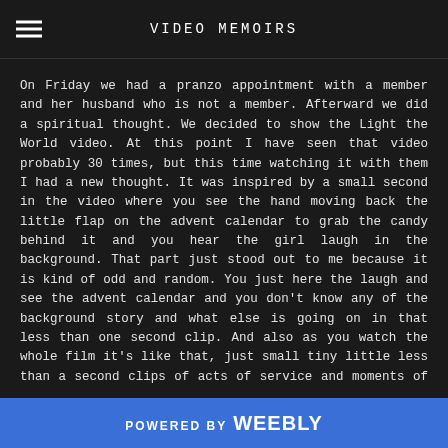VIDEO MEMOIRS
On Friday we had a pranzo appointment with a member and her husband who is not a member. Afterward we did a spiritual thought. We decided to show the Light the World video. At this point I have seen that video probably 30 times, but this time watching it with them I had a new thought. It was inspired by a small second in the video where you see the hand moving back the little flap on the advent calendar to grab the candy behind it and you hear the girl laugh in the background. That part just stood out to me because it is kind of odd and random. You just here the laugh and see the advent calendar and you don't know any of the background story and what else is going on in that less than one second clip. And also as you watch the whole film it's like that, just small tiny little less than a second clips of acts of service and moments of the holidays taking place. The part that is profound is that obviously behind each one of these clips is a bigger longer story. When the film ended I explained them these observations I had made and then went on to explain that
POWERED BY Weebly